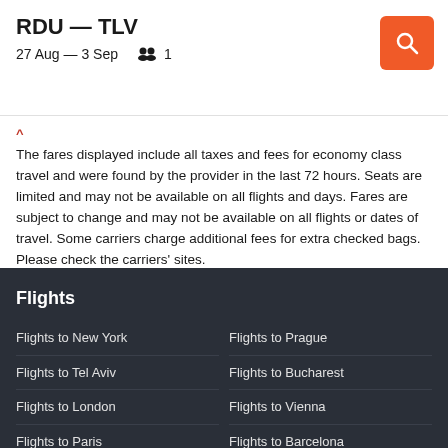RDU — TLV
27 Aug — 3 Sep   🧑‍🤝‍🧑 1
^ The fares displayed include all taxes and fees for economy class travel and were found by the provider in the last 72 hours. Seats are limited and may not be available on all flights and days. Fares are subject to change and may not be available on all flights or dates of travel. Some carriers charge additional fees for extra checked bags. Please check the carriers' sites.
Flights
Flights to New York
Flights to Prague
Flights to Tel Aviv
Flights to Bucharest
Flights to London
Flights to Vienna
Flights to Paris
Flights to Barcelona